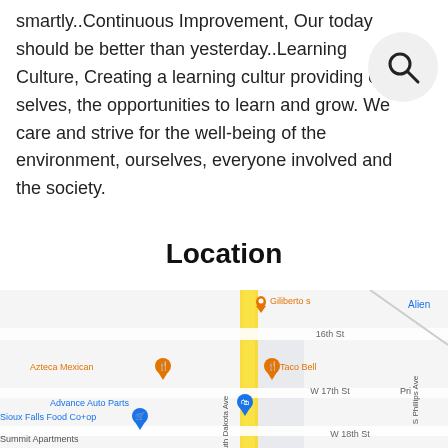smartly..Continuous Improvement, Our today should be better than yesterday..Learning Culture, Creating a learning culture providing our selves, the opportunities to learn and grow. We care and strive for the well-being of the environment, ourselves, everyone involved and the society.
Location
[Figure (map): Google Maps screenshot showing a street map with location pins. Visible places include Giliberto's, Azteca Mexican, Taco Bell, Advance Auto Parts, Sioux Falls Food Co+op, Summit Apartments. Streets visible include 16th St, W 17th St, W 18th St, South Dakota Ave, S Phillips Ave. Also shows 'Alien' text on right edge.]